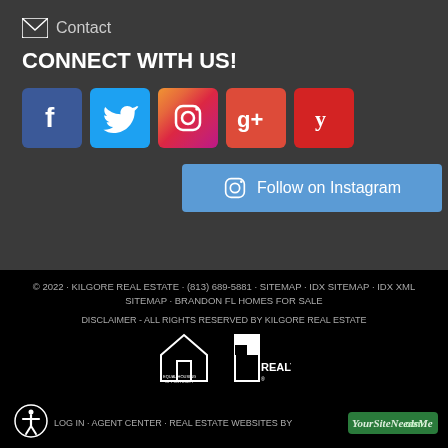Contact
CONNECT WITH US!
[Figure (infographic): Social media icons: Facebook, Twitter, Instagram, Google+, Yelp]
[Figure (infographic): Follow on Instagram button with Instagram icon]
© 2022 · KILGORE REAL ESTATE · (813) 689-5881 · SITEMAP · IDX SITEMAP · IDX XML SITEMAP · BRANDON FL HOMES FOR SALE
DISCLAIMER - ALL RIGHTS RESERVED BY KILGORE REAL ESTATE
LOG IN · AGENT CENTER · REAL ESTATE WEBSITES BY YourSiteNeedsMe.com